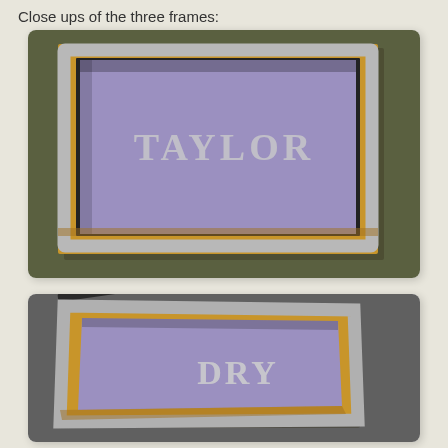Close ups of the three frames:
[Figure (photo): Close-up photo of a decorative wooden picture frame with silver glitter trim, containing a purple/lavender background with silver glitter text letters visible in the center, placed on an olive green surface.]
[Figure (photo): Close-up photo of a similar decorative wooden picture frame with silver glitter trim, containing a purple/lavender background with silver glitter letters 'DRY' visible, placed on a gray surface, slightly angled with a dark stick/pen visible at top left.]